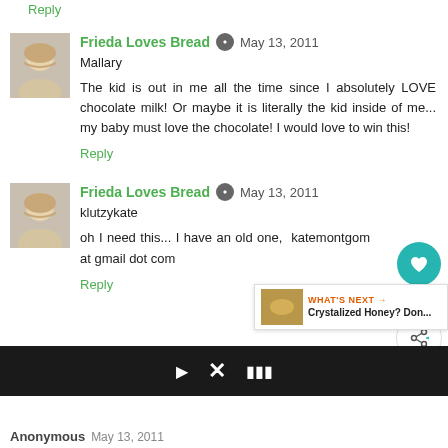Reply
Frieda Loves Bread · May 13, 2011
Mallary
The kid is out in me all the time since I absolutely LOVE chocolate milk! Or maybe it is literally the kid inside of me... my baby must love the chocolate! I would love to win this!
Reply
Frieda Loves Bread · May 13, 2011
klutzykate
oh I need this... I have an old one, katemontgom at gmail dot com
Reply
Anonymous May 13, 2011